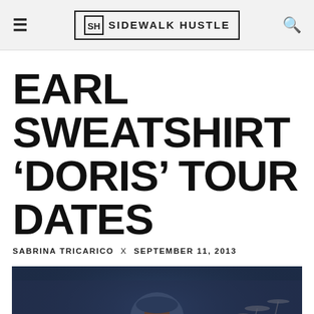SIDEWALK HUSTLE
EARL SWEATSHIRT 'DORIS' TOUR DATES
SABRINA TRICARICO × SEPTEMBER 11, 2013
[Figure (photo): Earl Sweatshirt performing on stage, wearing a blue hoodie and holding a microphone, with drums and stage equipment visible in the background]